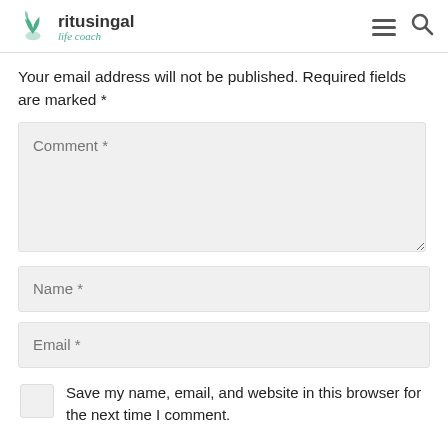ritusingal life coach
Your email address will not be published. Required fields are marked *
[Figure (screenshot): Comment text area input field with placeholder text 'Comment *']
[Figure (screenshot): Name input field with placeholder text 'Name *']
[Figure (screenshot): Email input field with placeholder text 'Email *']
Save my name, email, and website in this browser for the next time I comment.